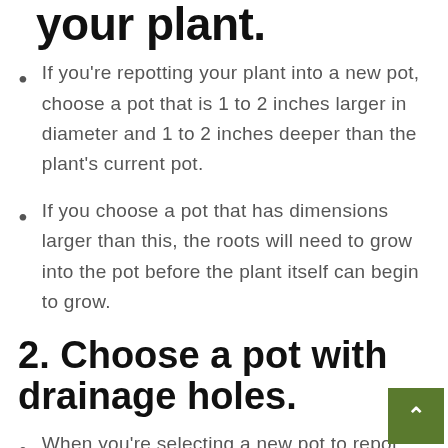your plant.
If you're repotting your plant into a new pot, choose a pot that is 1 to 2 inches larger in diameter and 1 to 2 inches deeper than the plant's current pot.
If you choose a pot that has dimensions larger than this, the roots will need to grow into the pot before the plant itself can begin to grow.
2. Choose a pot with drainage holes.
When you're selecting a new pot to repot your plant, make sure it has drainage holes...